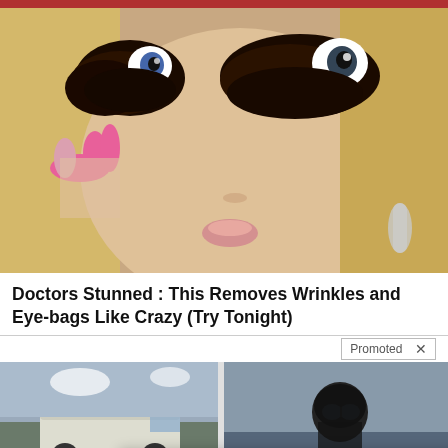[Figure (photo): Close-up photo of a woman with dramatic eyeball makeup (large eye designs around eyes), pink nails touching face, wearing earrings — used in a beauty/anti-aging advertisement]
Doctors Stunned : This Removes Wrinkles and Eye-bags Like Crazy (Try Tonight)
Promoted X
[Figure (photo): Two side-by-side thumbnail images: left shows a van/RV scene, right shows a person in dark helmet/gas mask outdoors]
Ge
Be
[Figure (photo): Popup card with thumbnail photo of an elderly man (Willie Nelson) in dark clothing]
A Tragic End Today For Willie Nelson
Breaking News